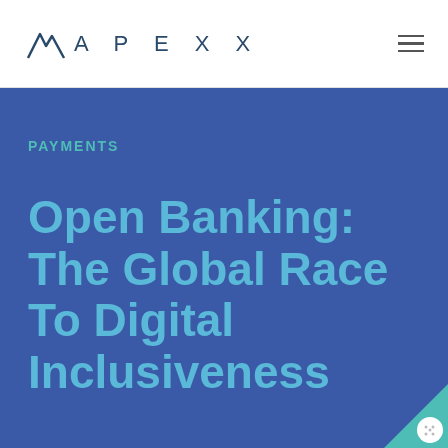APEXX
PAYMENTS
Open Banking: The Global Race To Digital Inclusiveness